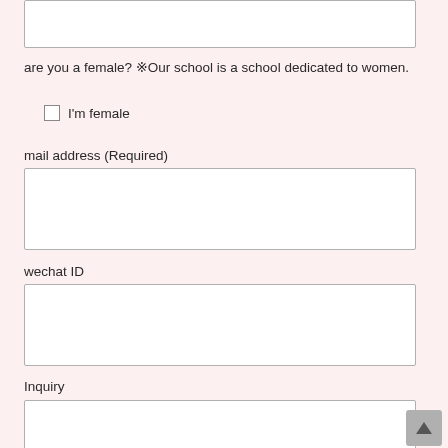[Figure (other): Top portion of a text input field (cropped, top of page)]
are you a female? ※Our school is a school dedicated to women.
I'm female (checkbox)
mail address (Required)
[Figure (other): Empty text input field for mail address]
wechat ID
[Figure (other): Empty text input field for wechat ID]
Inquiry
[Figure (other): Empty text area for inquiry (partially visible)]